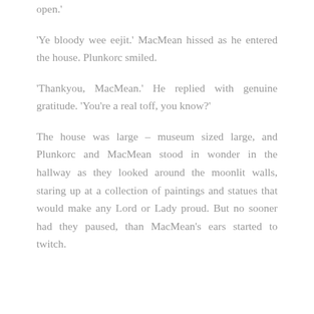open.'
'Ye bloody wee eejit.' MacMean hissed as he entered the house. Plunkorc smiled.
'Thankyou, MacMean.' He replied with genuine gratitude. 'You're a real toff, you know?'
The house was large – museum sized large, and Plunkorc and MacMean stood in wonder in the hallway as they looked around the moonlit walls, staring up at a collection of paintings and statues that would make any Lord or Lady proud. But no sooner had they paused, than MacMean's ears started to twitch.